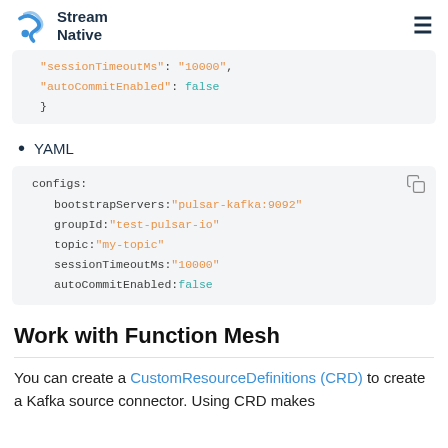Stream Native
"sessionTimeoutMs": "10000",
"autoCommitEnabled": false
}
YAML
configs:
    bootstrapServers: "pulsar-kafka:9092"
    groupId: "test-pulsar-io"
    topic: "my-topic"
    sessionTimeoutMs: "10000"
    autoCommitEnabled: false
Work with Function Mesh
You can create a CustomResourceDefinitions (CRD) to create a Kafka source connector. Using CRD makes